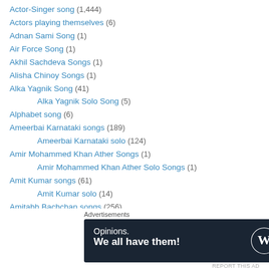Actor-Singer song (1,444)
Actors playing themselves (6)
Adnan Sami Song (1)
Air Force Song (1)
Akhil Sachdeva Songs (1)
Alisha Chinoy Songs (1)
Alka Yagnik Song (41)
Alka Yagnik Solo Song (5)
Alphabet song (6)
Ameerbai Karnataki songs (189)
Ameerbai Karnataki solo (124)
Amir Mohammed Khan Ather Songs (1)
Amir Mohammed Khan Ather Solo Songs (1)
Amit Kumar songs (61)
Amit Kumar solo (14)
Amitabh Bachchan songs (256)
Advertisements
[Figure (other): Wordpress advertisement banner: Opinions. We all have them!]